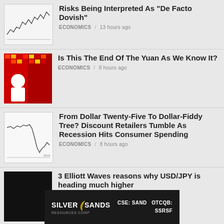Risks Being Interpreted As "De Facto Dovish" | ECONOMICS / 13 hours ago
Is This The End Of The Yuan As We Know It? | ECONOMICS / 8 hours ago
From Dollar Twenty-Five To Dollar-Fiddy Tree? Discount Retailers Tumble As Recession Hits Consumer Spending | ECONOMICS / 8 hours ago
3 Elliott Waves reasons why USD/JPY is heading much higher | ECONOMICS / 20 hours ago
[Figure (other): Silver Sands Resources Corp advertisement banner. Text: SILVER SANDS (with wave logo), RESOURCES CORP, CSE: SAND OTCQB: SSRSF]